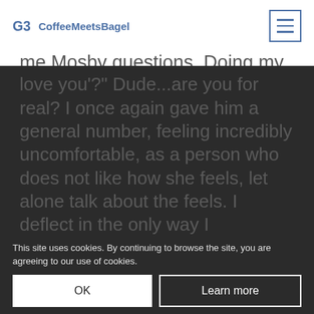CoffeeMeetsBagel
me Mosby questions. Doing my best to dodge this inquisition, he wound up telling me about what happened in all of his past relationships and what he’s been doing since then.
When I finally thought I was free, I get this: “How many times have you said ‘I love you’?” Dude…are you for real? I once again gave him a general number, feeling incredibly uncomfortable, as a person who does not like how she feels, let alone talk about the feels. I deflect in the only way I
This site uses cookies. By continuing to browse the site, you are agreeing to our use of cookies.
OK
Learn more